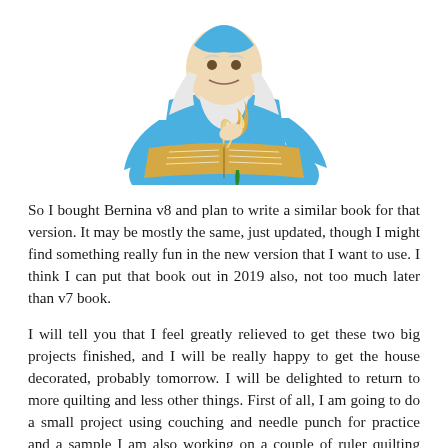[Figure (illustration): Cartoon illustration of a wizard or scholar in blue robes writing in a large open book with a quill pen, seen from the waist up, cropped at top of page.]
So I bought Bernina v8 and plan to write a similar book for that version.  It may be mostly the same, just updated, though I might find something really fun in the new version that I want to use.  I think I can put that book out in 2019 also, not too much later than v7 book.
I will tell you that I feel greatly relieved to get these two big projects finished, and I will be really happy to get the house decorated, probably tomorrow.  I will be delighted to return to more quilting and less other things.  First of all, I am going to do a small project using couching and needle punch for practice and a sample  I am also working on a couple of ruler quilting practice samples. And yes, I already have several quilts in mind to use these particular